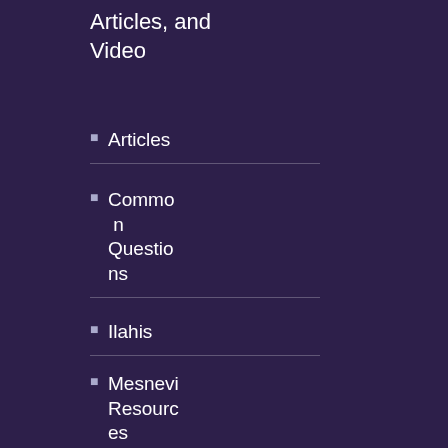Articles, and Video
Articles
Common Questions
Ilahis
Mesnevi Resources
Podcasts
200